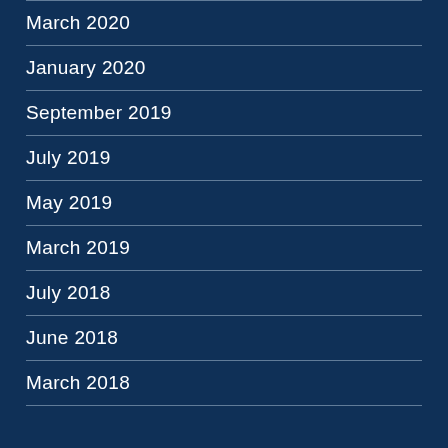March 2020
January 2020
September 2019
July 2019
May 2019
March 2019
July 2018
June 2018
March 2018